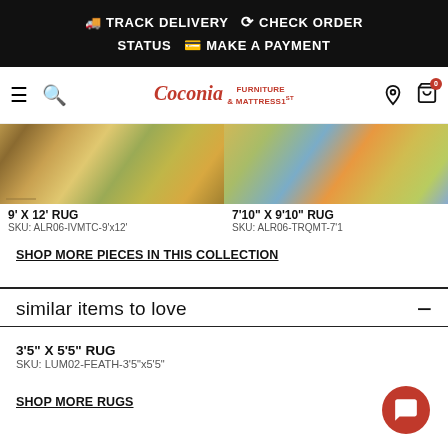TRACK DELIVERY  CHECK ORDER STATUS  MAKE A PAYMENT
[Figure (screenshot): Coconia Furniture & Mattress 1st navigation bar with hamburger menu, search icon, logo, location pin, and cart icon]
[Figure (photo): Two rug product images side by side]
9' X 12' RUG
SKU: ALR06-IVMTC-9'x12'
7'10" X 9'10" RUG
SKU: ALR06-TRQMT-7'1
SHOP MORE PIECES IN THIS COLLECTION
similar items to love
3'5" X 5'5" RUG
SKU: LUM02-FEATH-3'5"x5'5"
SHOP MORE RUGS